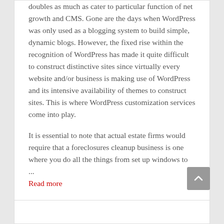doubles as much as cater to particular function of net growth and CMS. Gone are the days when WordPress was only used as a blogging system to build simple, dynamic blogs. However, the fixed rise within the recognition of WordPress has made it quite difficult to construct distinctive sites since virtually every website and/or business is making use of WordPress and its intensive availability of themes to construct sites. This is where WordPress customization services come into play.
It is essential to note that actual estate firms would require that a foreclosures cleanup business is one where you do all the things from set up windows to ...
Read more